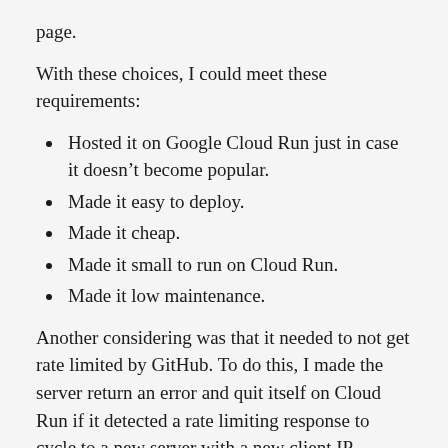page.
With these choices, I could meet these requirements:
Hosted it on Google Cloud Run just in case it doesn’t become popular.
Made it easy to deploy.
Made it cheap.
Made it small to run on Cloud Run.
Made it low maintenance.
Another considering was that it needed to not get rate limited by GitHub. To do this, I made the server return an error and quit itself on Cloud Run if it detected a rate limiting response to cycle to a new server with a new client IP address. Unfortunately, this limited the number of requests each server could handle at a time to a minimum of one